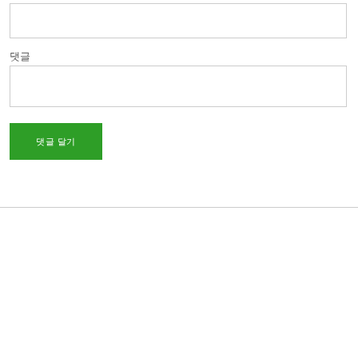[Figure (other): Empty input text box at top of form]
댓글
[Figure (other): Empty input/textarea box for comment entry]
댓글 달기
DIRECTOR
Email
taxaccounting@hittax.com.co
Phone
0432400829